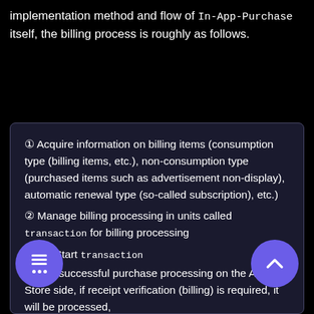implementation method and flow of In-App-Purchase itself, the billing process is roughly as follows.
① Acquire information on billing items (consumption type (billing items, etc.), non-consumption type (purchased items such as advertisement non-display), automatic renewal type (so-called subscription), etc.)
② Manage billing processing in units called transaction for billing processing
1 Start transaction
After successful purchase processing on the App Store side, if receipt verification (billing) is required, it will be processed,